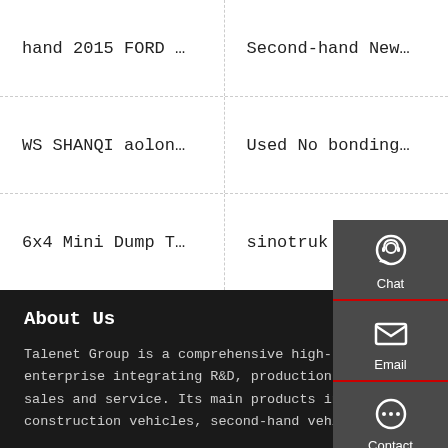hand 2015 FORD …
Second-hand New…
WS SHANQI aolon…
Used No bonding…
6x4 Mini Dump T…
sinotruk 6x4 ho…
[Figure (infographic): Side panel with Chat, Email, Contact, Top buttons]
About Us
Talenet Group is a comprehensive high-tech enterprise integrating R&D, production, sales and service. Its main products include construction vehicles, second-hand vehicles,